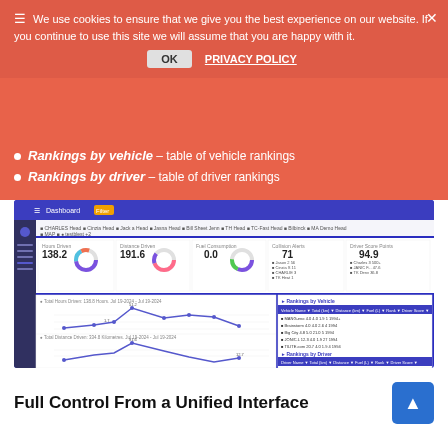We use cookies to ensure that we give you the best experience on our website. If you continue to use this site we will assume that you are happy with it.
OK PRIVACY POLICY
Rankings by vehicle – table of vehicle rankings
Rankings by driver – table of driver rankings
[Figure (screenshot): Dashboard screenshot showing vehicle tracking interface with metrics: 138.2 Hours Driven, 191.6 Distance Driven, 0.0 Fuel Consumption, 71 Collision Alerts, 94.9 Driver Score. Charts show line graphs for Total Hours Driven, Total Distance Driven, Total Fuel Consumption, and tables for Rankings by Vehicle and Rankings by Driver.]
Full Control From a Unified Interface